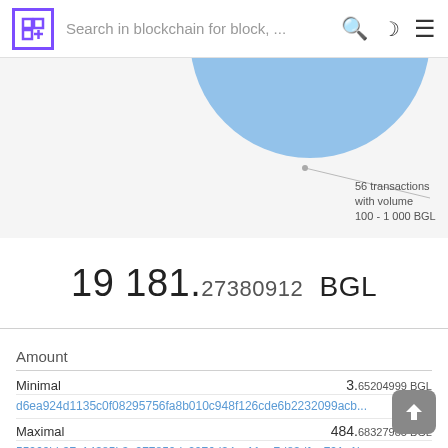Search in blockchain for block, ...
[Figure (other): Partial blue circle/bubble chart visible at top, with tooltip: '56 transactions with volume 100 - 1 000 BGL']
19 181.27380912 BGL
| Amount |  |
| --- | --- |
| Minimal | 3.65204999 BGL |
| d6ea924d1135c0f08295756fa8b010c948f126cde6b2232099acb... |  |
| Maximal | 484.68327983 BGL |
| 55969bb37c14385b3e977850dc2276d34cc11aa7d83dfae791e1b... |  |
| Avearge | 117.67652643 BGL |
| Total | 19 181.27380912 BGL |